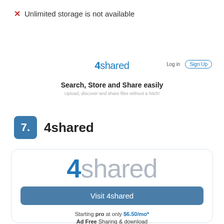✗ Unlimited storage is not available
[Figure (logo): 4shared logo with navigation buttons (Log in, Sign Up)]
Search, Store and Share easily
Upload, discover and share files without a hitch!
7. 4shared
[Figure (logo): Large 4shared logo inside a card with Visit 4shared button, pricing starting pro at only $6.50/mo*, Ad Free Sharing & download]